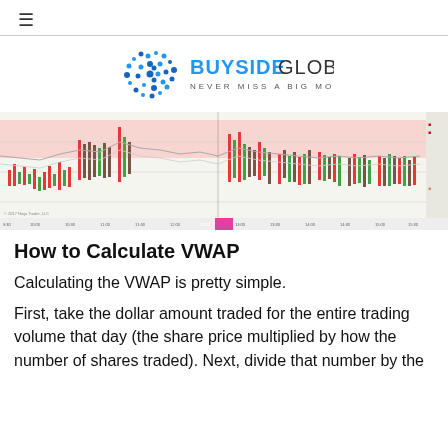≡
[Figure (logo): Buyside Global logo — circular blue dot pattern icon beside 'BUYSIDE GLOBAL / NEVER MISS A BIG MOVE' text]
[Figure (screenshot): Stock trading chart showing candlestick price data with VWAP-like band (pink/red shaded region), multiple candlesticks in red and green, oscillator/wave lines below, time axis along bottom, price axis on right side.]
How to Calculate VWAP
Calculating the VWAP is pretty simple.
First, take the dollar amount traded for the entire trading volume that day (the share price multiplied by how the number of shares traded). Next, divide that number by the